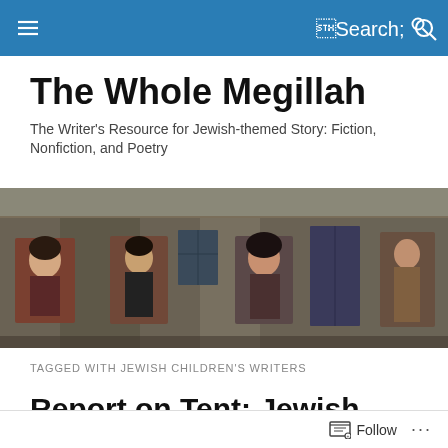The Whole Megillah – navigation bar
The Whole Megillah
The Writer's Resource for Jewish-themed Story: Fiction, Nonfiction, and Poetry
[Figure (photo): Black and white photograph of an old brick building facade with large portrait photographs mounted on the exterior wall, showing historical figures.]
TAGGED WITH JEWISH CHILDREN'S WRITERS
Report on Tent: Jewish Children's Literature,
Follow